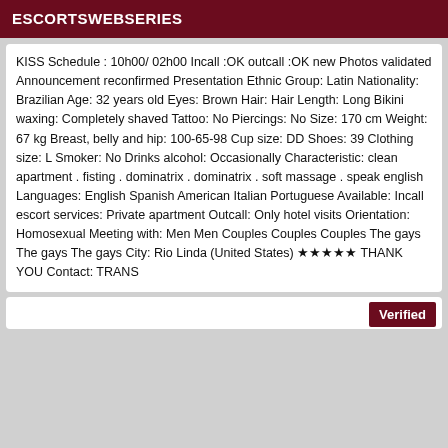ESCORTSWEBSERIES
KISS Schedule : 10h00/ 02h00 Incall :OK outcall :OK new Photos validated Announcement reconfirmed Presentation Ethnic Group: Latin Nationality: Brazilian Age: 32 years old Eyes: Brown Hair: Hair Length: Long Bikini waxing: Completely shaved Tattoo: No Piercings: No Size: 170 cm Weight: 67 kg Breast, belly and hip: 100-65-98 Cup size: DD Shoes: 39 Clothing size: L Smoker: No Drinks alcohol: Occasionally Characteristic: clean apartment . fisting . dominatrix . dominatrix . soft massage . speak english Languages: English Spanish American Italian Portuguese Available: Incall escort services: Private apartment Outcall: Only hotel visits Orientation: Homosexual Meeting with: Men Men Couples Couples Couples The gays The gays The gays City: Rio Linda (United States) ★★★★★ THANK YOU Contact: TRANS
Verified